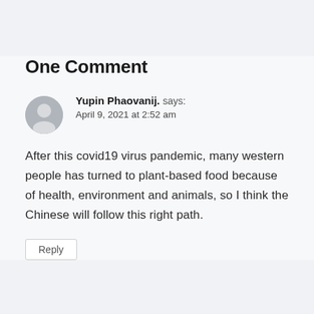One Comment
Yupin Phaovanij. says:
April 9, 2021 at 2:52 am
After this covid19 virus pandemic, many western people has turned to plant-based food because of health, environment and animals, so I think the Chinese will follow this right path.
Reply